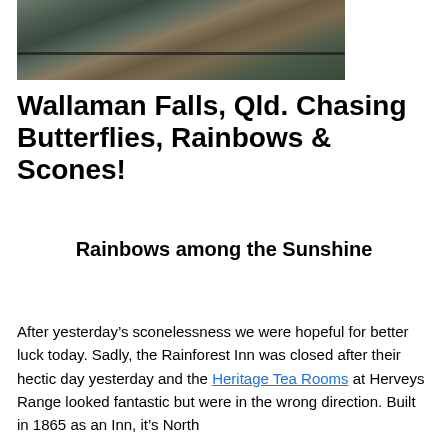[Figure (photo): Aerial or close-up photograph of dark rocky terrain with mossy patches, showing a crack or crevice running horizontally across the rock surface.]
Wallaman Falls, Qld. Chasing Butterflies, Rainbows & Scones!
Rainbows among the Sunshine
After yesterday’s sconelessness we were hopeful for better luck today. Sadly, the Rainforest Inn was closed after their hectic day yesterday and the Heritage Tea Rooms at Herveys Range looked fantastic but were in the wrong direction. Built in 1865 as an Inn, it’s North